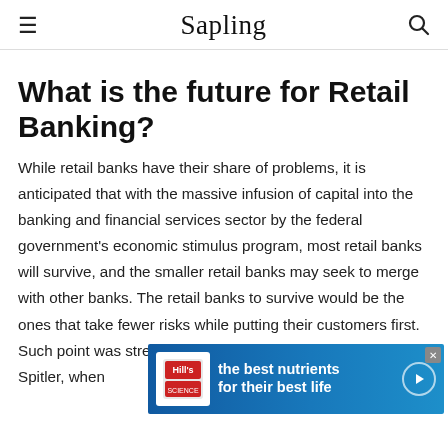Sapling
What is the future for Retail Banking?
While retail banks have their share of problems, it is anticipated that with the massive infusion of capital into the banking and financial services sector by the federal government's economic stimulus program, most retail banks will survive, and the smaller retail banks may seek to merge with other banks. The retail banks to survive would be the ones that take fewer risks while putting their customers first. Such point was stressed by a financial banking analyst Rick Spitler, when ... will be on ... t
[Figure (other): Advertisement banner for Hill's pet nutrition: 'the best nutrients for their best life']